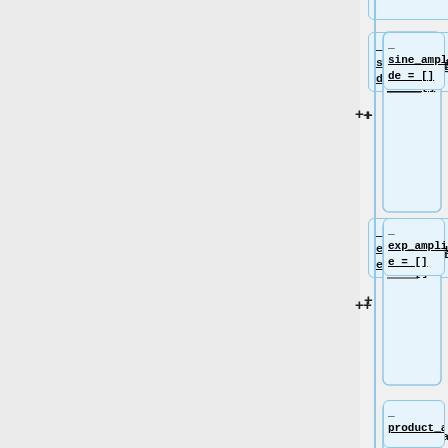[Figure (flowchart): Code flowchart/node diagram showing a sequence of Python code blocks in connected rounded-rectangle nodes. Nodes contain: 'sine_amplitude = []', 'exp_amplitude = []', 'product_amplitude = []', an empty node, '# Calculate the data and append to the lists', and 'for i in range(0, 10000, 1)'. Each node has a plus icon to its left and a dash/minus at the top. There is a vertical blue line and connecting elements on the left side.]